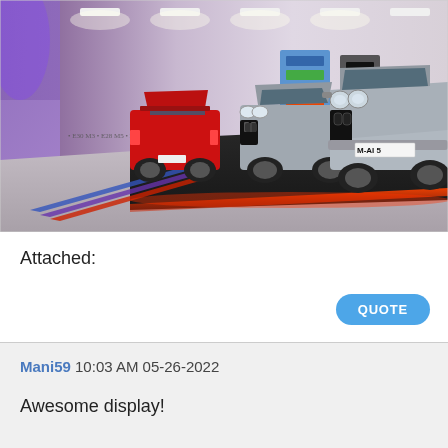[Figure (photo): Museum or showroom display of classic BMW M cars on a dark platform. Three cars visible: a red BMW M3 (E30) on the left facing away, a silver/grey BMW M5 (E28) in the center, and a silver BMW M5 in the foreground facing forward with license plate M-AI 5. The floor has BMW M stripes (blue, violet, red) and red LED lighting along the platform edge. The background wall has colourful stacked panels.]
Attached:
QUOTE
Mani59 10:03 AM 05-26-2022
Awesome display!